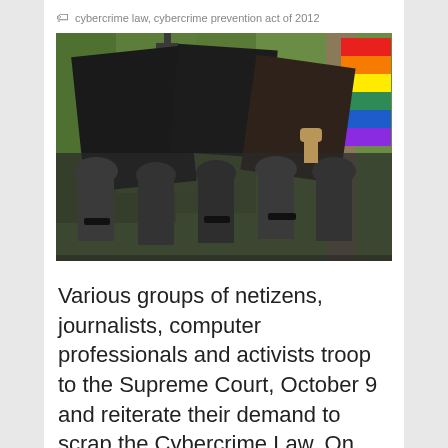cybercrime law, cybercrime prevention act of 2012
[Figure (photo): Protest photo showing groups of people holding up large black signs/tablets and wearing black tape over their mouths in front of a building with greenery; a rainbow flag is visible in the upper right corner.]
Various groups of netizens, journalists, computer professionals and activists troop to the Supreme Court, October 9 and reiterate their demand to scrap the Cybercrime Law. On the same